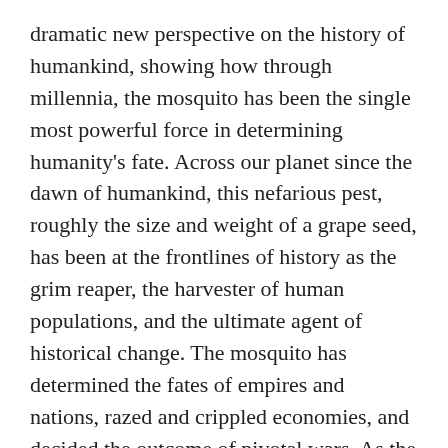dramatic new perspective on the history of humankind, showing how through millennia, the mosquito has been the single most powerful force in determining humanity's fate. Across our planet since the dawn of humankind, this nefarious pest, roughly the size and weight of a grape seed, has been at the frontlines of history as the grim reaper, the harvester of human populations, and the ultimate agent of historical change. The mosquito has determined the fates of empires and nations, razed and crippled economies, and decided the outcome of pivotal wars. As the greatest purveyor of extermination we have ever known, she has played a greater role in shaping our human story than any other living thing with which we share our global village.

Imagine for a moment a world without deadly